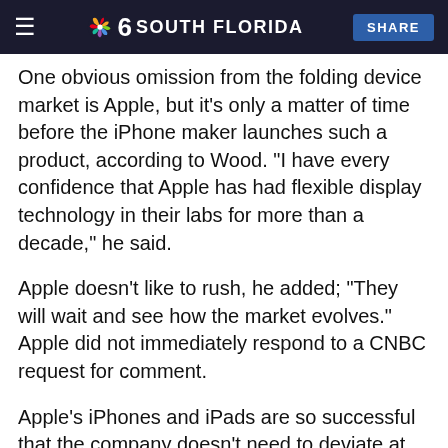NBC 6 SOUTH FLORIDA | SHARE
One obvious omission from the folding device market is Apple, but it's only a matter of time before the iPhone maker launches such a product, according to Wood. "I have every confidence that Apple has had flexible display technology in their labs for more than a decade," he said.
Apple doesn't like to rush, he added; "They will wait and see how the market evolves." Apple did not immediately respond to a CNBC request for comment.
Apple's iPhones and iPads are so successful that the company doesn't need to deviate at this point in time, Wood said. When the time is right for Apple to launch a flexible product, Wood expects there to be "some sort of convergence" between the iPhone and iPad.